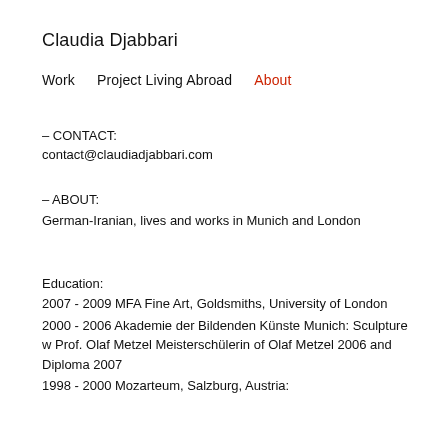Claudia Djabbari
Work    Project Living Abroad    About
– CONTACT:
contact@claudiadjabbari.com
– ABOUT:
German-Iranian, lives and works in Munich and London
Education:
2007 - 2009 MFA Fine Art, Goldsmiths, University of London
2000 - 2006 Akademie der Bildenden Künste Munich: Sculpture w Prof. Olaf Metzel Meisterschülerin of Olaf Metzel 2006 and Diploma 2007
1998 - 2000 Mozarteum, Salzburg, Austria: